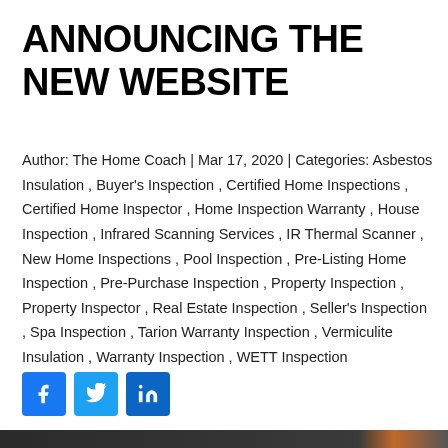ANNOUNCING THE NEW WEBSITE
Author: The Home Coach | Mar 17, 2020 | Categories: Asbestos Insulation , Buyer's Inspection , Certified Home Inspections , Certified Home Inspector , Home Inspection Warranty , House Inspection , Infrared Scanning Services , IR Thermal Scanner , New Home Inspections , Pool Inspection , Pre-Listing Home Inspection , Pre-Purchase Inspection , Property Inspection , Property Inspector , Real Estate Inspection , Seller's Inspection , Spa Inspection , Tarion Warranty Inspection , Vermiculite Insulation , Warranty Inspection , WETT Inspection
[Figure (other): Social media share icons: Facebook (blue), Twitter (blue), LinkedIn (blue)]